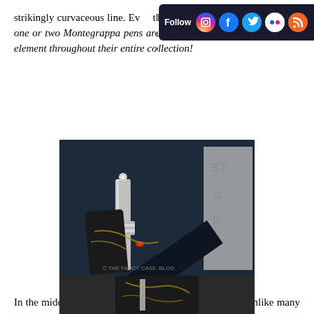strikingly curvaceous line. Even the MIA is a bulbously-shaped but one or two Montegrappa pens are flat-tops, a subtle but consistent element throughout their entire collection!
[Figure (photo): Close-up photo of a Montegrappa fountain pen showing the center band detail, with decorative marbled barrel visible. Watermark reads © THE FANCY CASE BLOG.]
In the middle of the pen, a wide center band - also not unlike many other Montegrappa pens, although surprisingly simple in its execution on this particular pen. How I see it, the Miya, which is similar in both name and design, distinguishes itself with a more elaborate (and even larger!) center band design... but also a much higher price tag.
[Figure (photo): Partial close-up photo of a Montegrappa pen showing decorative details at the bottom of the page.]